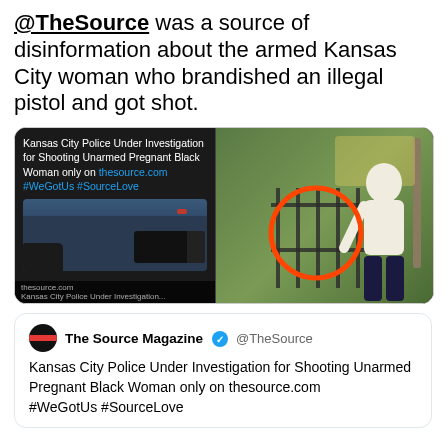@TheSource was a source of disinformation about the armed Kansas City woman who brandished an illegal pistol and got shot.
[Figure (screenshot): Two side-by-side images: left is a dark social media post from thesource.com reading 'Kansas City Police Under Investigation for Shooting Unarmed Pregnant Black Woman only on thesource.com #WeGotUs #SourceLove' with a thumbnail of a police scene; right is an outdoor photo of a woman near a fence with a red circle drawn around her hand area.]
The Source Magazine @TheSource
Kansas City Police Under Investigation for Shooting Unarmed Pregnant Black Woman only on thesource.com
#WeGotUs #SourceLove